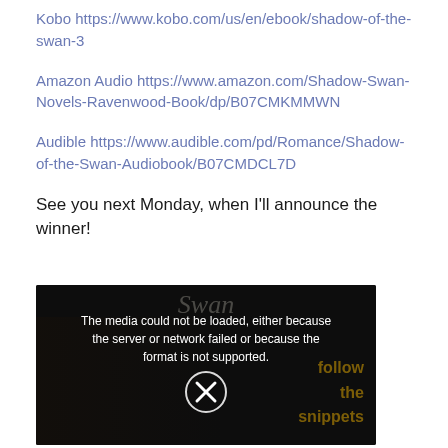Kobo https://www.kobo.com/us/en/ebook/shadow-of-the-swan-3
Amazon Audio https://www.amazon.com/Shadow-Swan-Novels-Ravenwood-Book/dp/B07CMKMMWN
Audible https://www.audible.com/pd/Romance/Shadow-of-the-Swan-Audiobook/B07CMDCL7D
See you next Monday, when I'll announce the winner!
[Figure (screenshot): Dark video player screenshot with error message: 'The media could not be loaded, either because the server or network failed or because the format is not supported.' with an X icon circle. Background shows faint 'Swan' cursive text and 'follow the snippets' in gold bold text on the right side.]